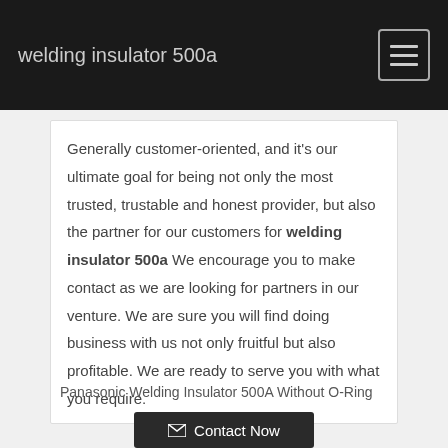welding insulator 500a
Generally customer-oriented, and it's our ultimate goal for being not only the most trusted, trustable and honest provider, but also the partner for our customers for welding insulator 500a We encourage you to make contact as we are looking for partners in our venture. We are sure you will find doing business with us not only fruitful but also profitable. We are ready to serve you with what you require.
Panasonic Welding Insulator 500A Without O-Ring